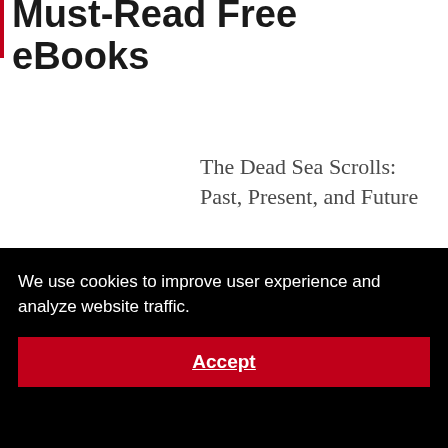Must-Read Free eBooks
The Dead Sea Scrolls: Past, Present, and Future
We use cookies to improve user experience and analyze website traffic.
Accept